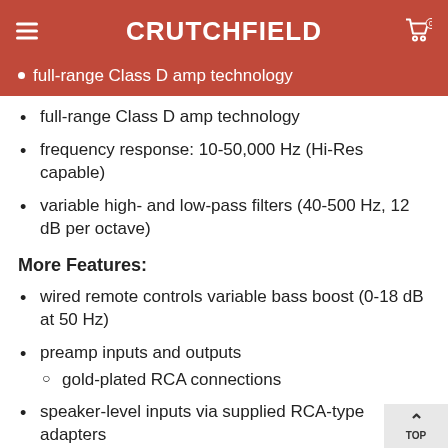CRUTCHFIELD
full-range Class D amp technology
frequency response: 10-50,000 Hz (Hi-Res capable)
variable high- and low-pass filters (40-500 Hz, 12 dB per octave)
More Features:
wired remote controls variable bass boost (0-18 dB at 50 Hz)
preamp inputs and outputs
gold-plated RCA connections
speaker-level inputs via supplied RCA-type adapters
signal-sensing turn-on with speaker